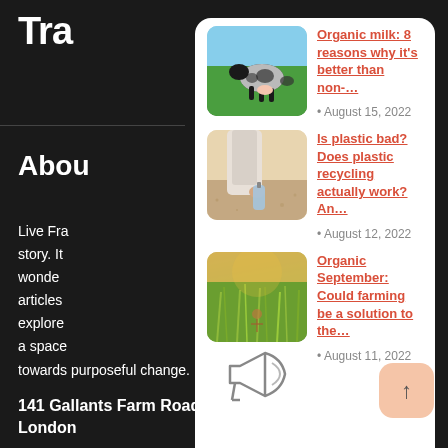Tra
Abou
Live Fra story. It wonde articles explore a space towards purposeful change.
[Figure (photo): Cows grazing in green field with blue sky]
Organic milk: 8 reasons why it's better than non-... • August 15, 2022
[Figure (photo): Person holding plastic bottle near sandy ground]
Is plastic bad? Does plastic recycling actually work? An... • August 12, 2022
[Figure (photo): Wheat or grass field in golden light]
Organic September: Could farming be a solution to the... • August 11, 2022
141 Gallants Farm Road London
[Figure (illustration): Megaphone icon outline drawing]
↑